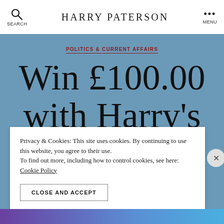Harry Paterson
POLITICS & CURRENT AFFAIRS
WIN £100.00 WITH HARRY'S
Privacy & Cookies: This site uses cookies. By continuing to use this website, you agree to their use.
To find out more, including how to control cookies, see here:
Cookie Policy
CLOSE AND ACCEPT